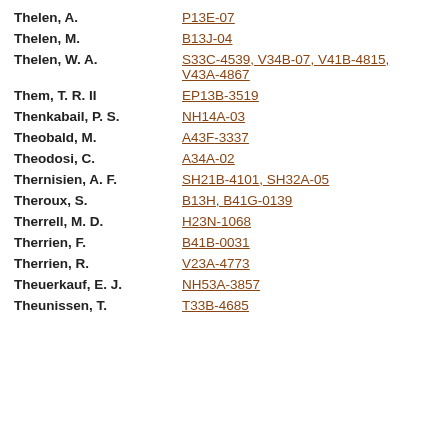Thelen, A.   P13E-07
Thelen, M.   B13J-04
Thelen, W. A.   S33C-4539, V34B-07, V41B-4815, V43A-4867
Them, T. R. II   EP13B-3519
Thenkabail, P. S.   NH14A-03
Theobald, M.   A43F-3337
Theodosi, C.   A34A-02
Thernisien, A. F.   SH21B-4101, SH32A-05
Theroux, S.   B13H, B41G-0139
Therrell, M. D.   H23N-1068
Therrien, F.   B41B-0031
Therrien, R.   V23A-4773
Theuerkauf, E. J.   NH53A-3857
Theunissen, T.   T33B-4685